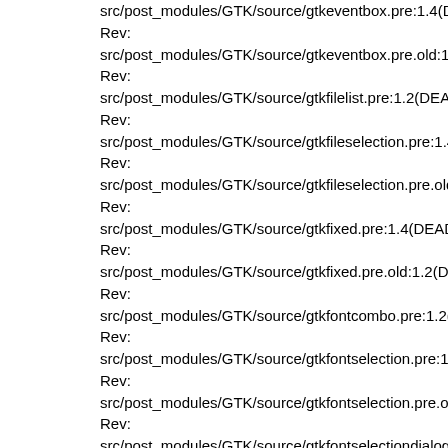src/post_modules/GTK/source/gtkeventbox.pre:1.4(DEAD)
Rev:
src/post_modules/GTK/source/gtkeventbox.pre.old:1.2(DEAD)
Rev:
src/post_modules/GTK/source/gtkfilelist.pre:1.2(DEAD)
Rev:
src/post_modules/GTK/source/gtkfileselection.pre:1.4(DEAD)
Rev:
src/post_modules/GTK/source/gtkfileselection.pre.old:1.2(DEAD)
Rev:
src/post_modules/GTK/source/gtkfixed.pre:1.4(DEAD)
Rev:
src/post_modules/GTK/source/gtkfixed.pre.old:1.2(DEAD)
Rev:
src/post_modules/GTK/source/gtkfontcombo.pre:1.2(DEAD)
Rev:
src/post_modules/GTK/source/gtkfontselection.pre:1.4(DEAD)
Rev:
src/post_modules/GTK/source/gtkfontselection.pre.old:1.2(DEAD)
Rev:
src/post_modules/GTK/source/gtkfontselectiondialog.pre:1.4(DEAD)
Rev:
src/post_modules/GTK/source/gtkfontselectiondialog.pre.old:1
Rev:
src/post_modules/GTK/source/gtkframe.pre:1.4(DEAD)
Rev: